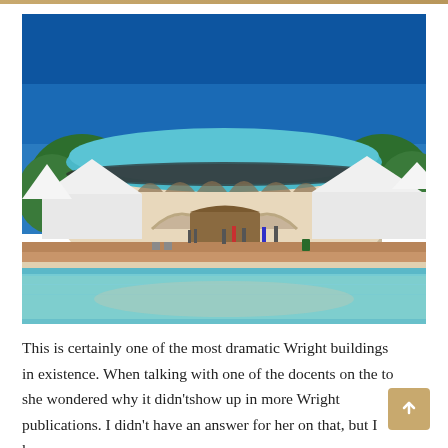[Figure (photo): Exterior photo of a dramatic circular Frank Lloyd Wright building with a turquoise domed roof and arched openings, surrounded by white tents and trees. In the foreground is a reflective pool or fountain. People are visible walking in front of the building under a bright blue sky.]
This is certainly one of the most dramatic Wright buildings in existence. When talking with one of the docents on the to she wondered why it didn'tshow up in more Wright publications. I didn't have an answer for her on that, but I know